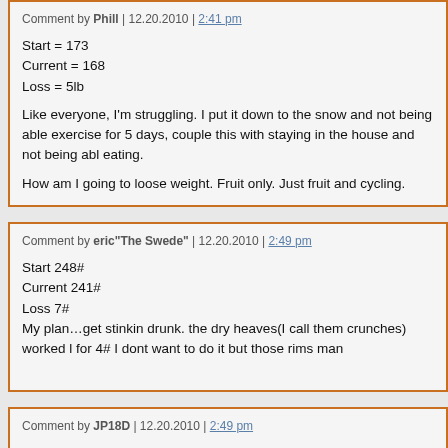Comment by Phill | 12.20.2010 | 2:41 pm

Start = 173
Current = 168
Loss = 5lb

Like everyone, I'm struggling. I put it down to the snow and not being able exercise for 5 days, couple this with staying in the house and not being able eating.

How am I going to loose weight. Fruit only. Just fruit and cycling.
Comment by eric"The Swede" | 12.20.2010 | 2:49 pm

Start 248#
Current 241#
Loss 7#
My plan...get stinkin drunk. the dry heaves(I call them crunches) worked for 4# I dont want to do it but those rims man
Comment by JP18D | 12.20.2010 | 2:49 pm

Starting: 224.5
Current: 212.8
Lost : 11.7